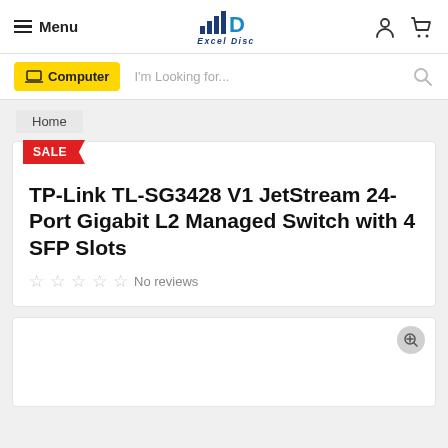Menu | Excel Disc
Computer | I'm Looking for...
Home
TP-Link TL-SG3428 V1 JetStream 24-Port Gigabit L2 Managed Switch with 4 SFP Slots
No reviews
[Figure (photo): Product image area with zoom icon]